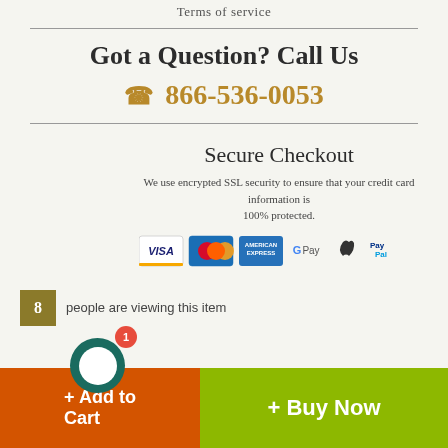Terms of service
Got a Question? Call Us
☎ 866-536-0053
Secure Checkout
We use encrypted SSL security to ensure that your credit card information is 100% protected.
[Figure (infographic): Payment method logos: Visa, Mastercard, American Express, Google Pay, Apple Pay, PayPal]
8 people are viewing this item
+ Add to Cart
+ Buy Now